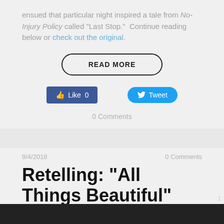ensued that particular night inspired a tale from No-Injury Policy called "Last Stop." Continue reading below or check out the original.
READ MORE
[Figure (other): Facebook Like button showing 'Like 0' and Twitter Tweet button]
0 Comments
9/4/2018
0 Comments
Retelling: "All Things Beautiful" (Excerpt)